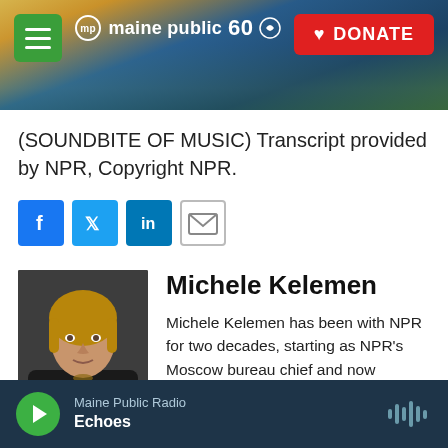[Figure (screenshot): Maine Public 60th anniversary logo with hamburger menu and DONATE button over a scenic banner image of a sunrise over a landscape.]
(SOUNDBITE OF MUSIC) Transcript provided by NPR, Copyright NPR.
[Figure (infographic): Social share buttons: Facebook (blue), Twitter (blue), LinkedIn (blue), Email (outlined)]
[Figure (photo): Headshot photo of Michele Kelemen]
Michele Kelemen
Michele Kelemen has been with NPR for two decades, starting as NPR's Moscow bureau chief and now covering the State Department and Washington's diplomatic corps. Her reports can be heard on all NPR News programs, including Morning
Maine Public Radio
Echoes